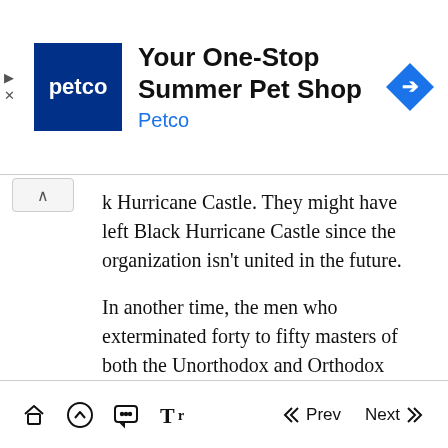[Figure (screenshot): Petco advertisement banner with logo, 'Your One-Stop Summer Pet Shop' title, Petco subtitle, and navigation arrow icon]
k Hurricane Castle. They might have left Black Hurricane Castle since the organization isn't united in the future.
In another time, the men who exterminated forty to fifty masters of both the Unorthodox and Orthodox factions during a dispute over a treasure map were these two.
Of course, the Twin Ghosts of the Ringed Blade died by my hands, and the treasure pointed in the treasure map also became mine.
Prev  Next